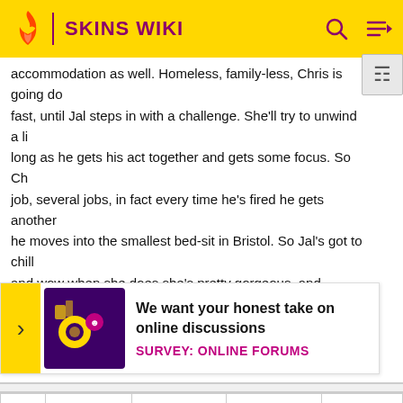SKINS WIKI
accommodation as well. Homeless, family-less, Chris is going downhill fast, until Jal steps in with a challenge. She'll try to unwind a little as long as he gets his act together and gets some focus. So Chris gets a job, several jobs, in fact every time he's fired he gets another one and he moves into the smallest bed-sit in Bristol. So Jal's got to chill out and wow when she does she's pretty gorgeous, and talented, and...Could Chris have had his eyes opened wider than any drug could do?[30]
| # | Title | Character | Viewers | Date |
| --- | --- | --- | --- | --- |
| 6 | "Tony" | Tony Stonem | 751,000[B] | March 17 2008 |
Tony's world is a strange one. Isolated, alone, he is desperate to find the way back to himself. Since the accident he lives in a world of... understanding to Sid... Mic... the... girl... meet... girlfriend... day.